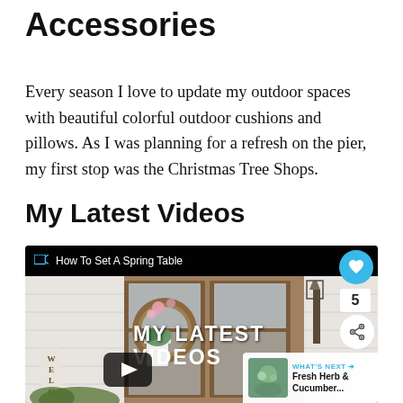Accessories
Every season I love to update my outdoor spaces with beautiful colorful outdoor cushions and pillows. As I was planning for a refresh on the pier, my first stop was the Christmas Tree Shops.
My Latest Videos
[Figure (screenshot): Embedded video player showing 'How To Set A Spring Table' with a spring porch scene overlay text reading 'MY LATEST VIDEOS', a play button, heart/share buttons, and a 'WHAT'S NEXT: Fresh Herb & Cucumber...' panel.]